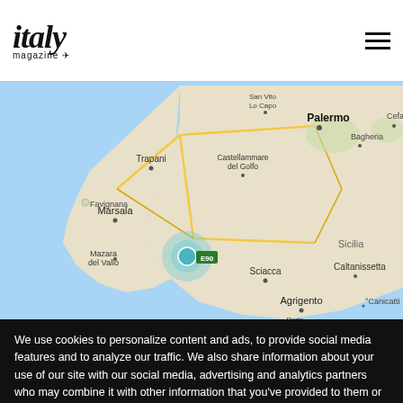[Figure (logo): Italy Magazine logo — italic serif 'italy' with 'magazine' below]
[Figure (map): Google Maps view of western Sicily showing Palermo, Trapani, Marsala, Marsala del Vallo, Sciacca, Agrigento, Cefalù, Caltanissetta, Bagheria with a teal location marker near Marsala del Vallo]
We use cookies to personalize content and ads, to provide social media features and to analyze our traffic. We also share information about your use of our site with our social media, advertising and analytics partners who may combine it with other information that you've provided to them or that they've collected from your use of their services. By continuing to use our website you consent to our cookies policy. More info
Accept
No, thanks